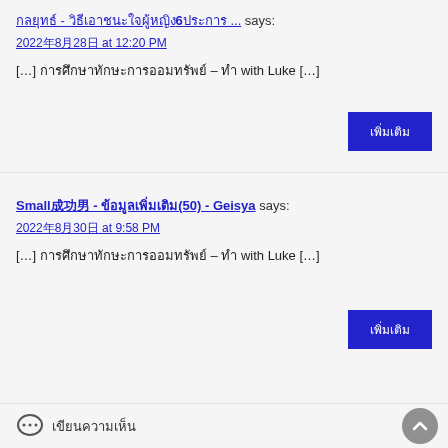กลยุทธ์ - วิธีเอาชนะใจผู้หญิง6ประการ ... says:
2022年8月28日 at 12:20 PM
[…] การศึกษาทักษะการออมทรัพย์ – ทำ with Luke […]
เพิ่มเติม
Small成功男 - ข้อมูลเพิ่มเติม(50) - Geisya says:
2022年8月30日 at 9:58 PM
[…] การศึกษาทักษะการออมทรัพย์ – ทำ with Luke […]
เพิ่มเติม
เขียนความเห็น